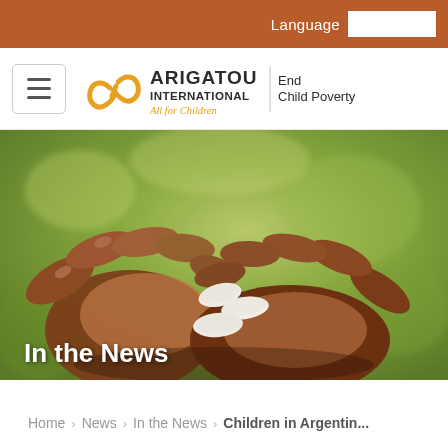Language
[Figure (logo): Arigatou International – End Child Poverty – All for Children logo with yellow chain-link icon]
[Figure (photo): Close-up photo of dark-skinned child hands cupping a few white bean seeds against a blurred yellow-green background]
In the News
Home › News › In the News › Children in Argentin...